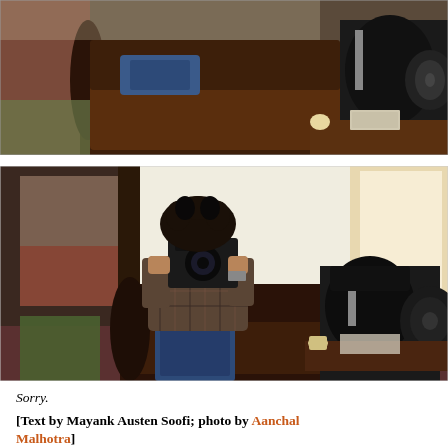[Figure (photo): Partial view of a photographer sitting on a leather sofa with a vintage sewing machine, cropped at top of page]
[Figure (photo): Person with curly hair holding a camera up to their face, sitting on a leather sofa next to a vintage black sewing machine in a room with cream walls]
Sorry.
[Text by Mayank Austen Soofi; photo by Aanchal Malhotra]
This is an apology to the readers of The Delhi